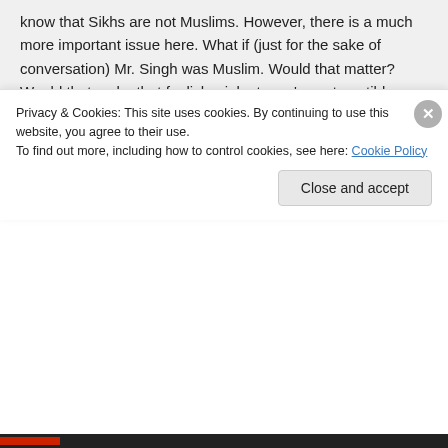know that Sikhs are not Muslims. However, there is a much more important issue here. What if (just for the sake of conversation) Mr. Singh was Muslim. Would that matter? Would that make that foolish, violent man's contemptible behavior any less evil?
brian wajdowicz on October 5, 2016 at 2:50 pm
Privacy & Cookies: This site uses cookies. By continuing to use this website, you agree to their use.
To find out more, including how to control cookies, see here: Cookie Policy